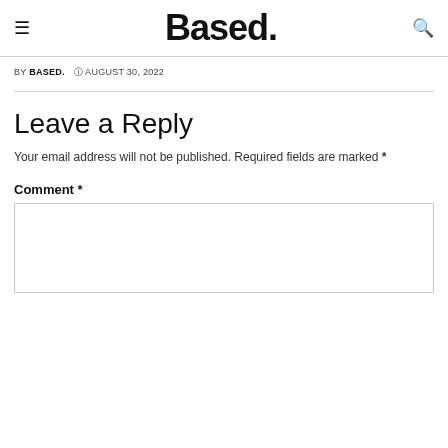≡  Based.  🔍
BY BASED. © AUGUST 30, 2022
Leave a Reply
Your email address will not be published. Required fields are marked *
Comment *